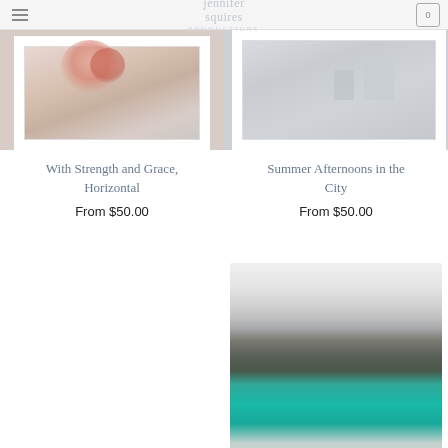[Figure (photo): Framed flower art print photo, cropped at top - With Strength and Grace, Horizontal]
[Figure (photo): Framed outdoor cafe/patio art print photo, cropped at top - Summer Afternoons in the City]
With Strength and Grace, Horizontal
From $50.00
Summer Afternoons in the City
From $50.00
[Figure (photo): Mountain landscape with turquoise lake photo - Ever Green, Ever More]
[Figure (photo): Mountain landscape with turquoise lake photo - Ever Green, Ever More]
Ever Green, Ever More,
Ever Green, Ever More,